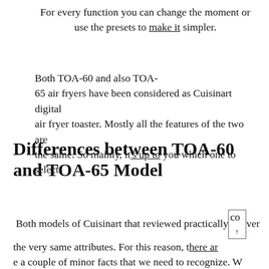For every function you can change the moment or use the presets to make it simpler.
Both TOA-60 and also TOA-65 air fryers have been considered as Cuisinart digital air fryer toaster. Mostly all the features of the two are the same. So mainly, it's up to you which one to select.
Differences between TOA-60 and TOA-65 Model
Both models of Cuisinart that reviewed practically cover the very same attributes. For this reason, there are a couple of minor facts that we need to recognize. W hen the problems give information it is not to the most...